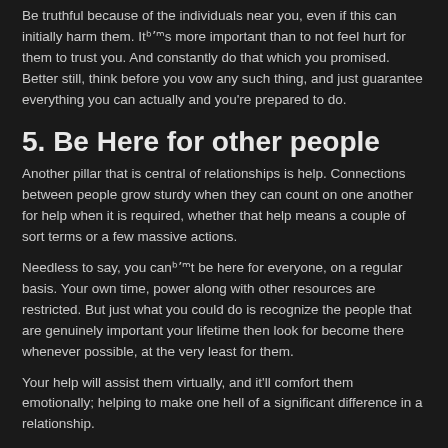Be truthful because of the individuals near you, even if this can initially harm them. It's more important than to not feel hurt for them to trust you. And constantly do that which you promised. Better still, think before you vow any such thing, and just guarantee everything you can actually and you're prepared to do.
5. Be Here for other people
Another pillar that is central of relationships is help. Connections between people grow sturdy when they can count on one another for help when it is required, whether that help means a couple of sort terms or a few massive actions.
Needless to say, you can't be here for everyone, on a regular basis. Your own time, power along with other resources are restricted. But just what you could do is recognize the people that are genuinely important your lifetime then look for become there whenever possible, at the very least for them.
Your help will assist them virtually, and it'll comfort them emotionally; helping to make one hell of a significant difference in a relationship.